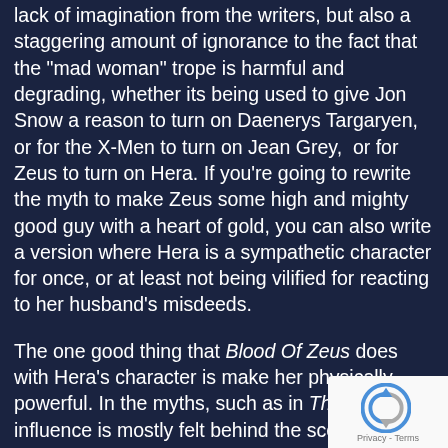lack of imagination from the writers, but also a staggering amount of ignorance to the fact that the "mad woman" trope is harmful and degrading, whether its being used to give Jon Snow a reason to turn on Daenerys Targaryen, or for the X-Men to turn on Jean Grey,  or for Zeus to turn on Hera. If you're going to rewrite the myth to make Zeus some high and mighty good guy with a heart of gold, you can also write a version where Hera is a sympathetic character for once, or at least not being vilified for reacting to her husband's misdeeds.
The one good thing that Blood Of Zeus does with Hera's character is make her physically powerful. In the myths, such as in The Iliad, her influence is mostly felt behind the scenes: unlike Athena or Artemis, she hardly ever goes down to the battlefield personally. In the series, however, she can levitate both herself and whatever else happens to be in the vicinity,  usually
[Figure (other): reCAPTCHA badge in bottom-right corner with Privacy and Terms text]